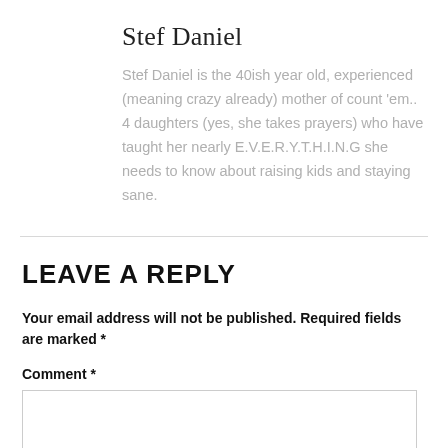Stef Daniel
Stef Daniel is the 40ish year old, experienced (meaning crazy already) mother of count 'em.. 4 daughters (yes, she takes prayers) who have taught her nearly E.V.E.R.Y.T.H.I.N.G she needs to know about raising kids and staying sane.
LEAVE A REPLY
Your email address will not be published. Required fields are marked *
Comment *